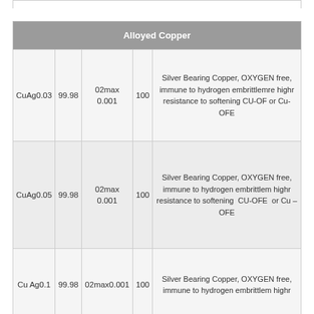| Alloyed Copper |  |  |  |  |
| --- | --- | --- | --- | --- |
| CuAg0.03 | 99.98 | 02max 0.001 | 100 | Silver Bearing Copper, OXYGEN free, immune to hydrogen embrittlemre highr resistance to softening CU-OF or Cu-OFE |
| CuAg0.05 | 99.98 | 02max 0.001 | 100 | Silver Bearing Copper, OXYGEN free, immune to hydrogen embrittlem highr resistance to softening CU-OFE or Cu – OFE |
| Cu Ag0.1 | 99.98 | 02max0.001 | 100 | Silver Bearing Copper, OXYGEN free, immune to hydrogen embrittlem highr |